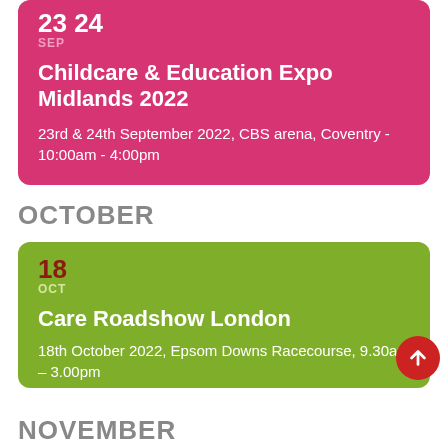23 24 SEP
Childcare & Education Expo Midlands 2022
23rd & 24th September 2022, CBS arena, Coventry - 10:00am - 4:00pm
OCTOBER
18 OCT
Care Roadshow London
18th October 2022, Epsom Downs Racecourse, 9.30am – 3.00pm
NOVEMBER